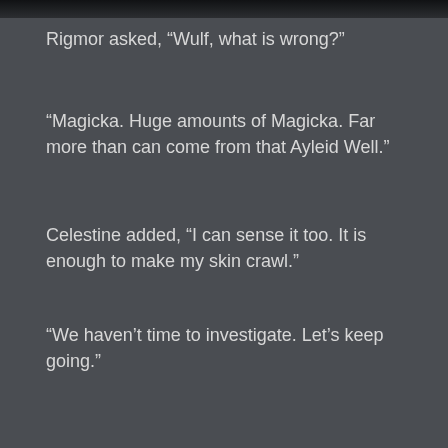[Figure (photo): Dark screenshot image cropped at top of page]
Rigmor asked, “Wulf, what is wrong?”
“Magicka. Huge amounts of Magicka. Far more than can come from that Ayleid Well.”
Celestine added, “I can sense it too. It is enough to make my skin crawl.”
“We haven’t time to investigate. Let’s keep going.”